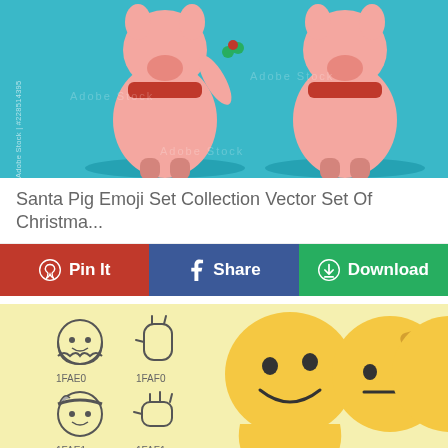[Figure (illustration): Adobe Stock image of two cartoon Santa Pig characters with red scarves on a teal background. Watermark text: Adobe Stock | #228514395]
Santa Pig Emoji Set Collection Vector Set Of Christma...
[Figure (infographic): Three social sharing buttons: Pin It (red, Pinterest), Share (blue, Facebook), Download (green, cloud icon)]
[Figure (illustration): Emoji set on yellow background showing outline emoji icons with codes 1FAE0, 1FAF0, 1FAE1, 1FAF1, 1FAE2, and large colored emoji faces including melting face, saluting face, and others]